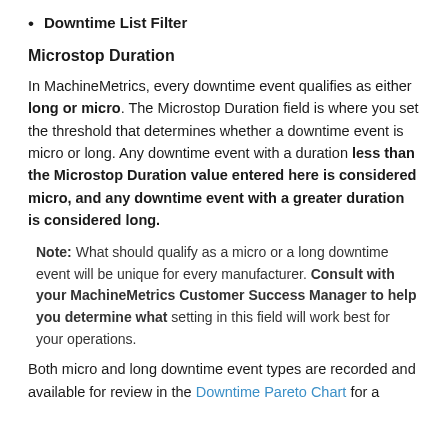Downtime List Filter
Microstop Duration
In MachineMetrics, every downtime event qualifies as either long or micro. The Microstop Duration field is where you set the threshold that determines whether a downtime event is micro or long. Any downtime event with a duration less than the Microstop Duration value entered here is considered micro, and any downtime event with a greater duration is considered long.
Note: What should qualify as a micro or a long downtime event will be unique for every manufacturer. Consult with your MachineMetrics Customer Success Manager to help you determine what setting in this field will work best for your operations.
Both micro and long downtime event types are recorded and available for review in the Downtime Pareto Chart for a